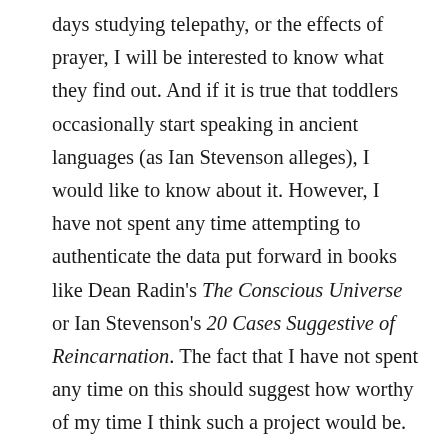days studying telepathy, or the effects of prayer, I will be interested to know what they find out. And if it is true that toddlers occasionally start speaking in ancient languages (as Ian Stevenson alleges), I would like to know about it. However, I have not spent any time attempting to authenticate the data put forward in books like Dean Radin's The Conscious Universe or Ian Stevenson's 20 Cases Suggestive of Reincarnation. The fact that I have not spent any time on this should suggest how worthy of my time I think such a project would be. Still, I found these books interesting, and I cannot categorically dismiss their contents in the way that I can dismiss the claims of religious dogmatists.